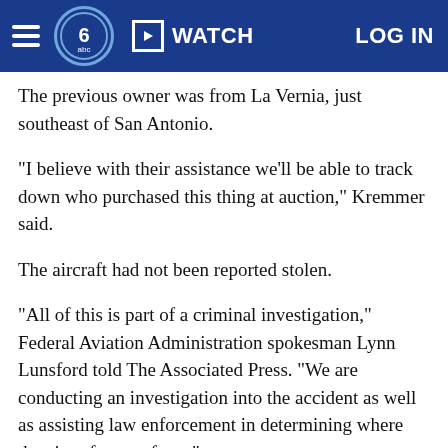WATCH | LOG IN
The previous owner was from La Vernia, just southeast of San Antonio.
"I believe with their assistance we'll be able to track down who purchased this thing at auction," Kremmer said.
The aircraft had not been reported stolen.
"All of this is part of a criminal investigation," Federal Aviation Administration spokesman Lynn Lunsford told The Associated Press. "We are conducting an investigation into the accident as well as assisting law enforcement in determining where the aircraft came from."
Lunsford said when a plane is purchased, the bill of sale includes a new registration form that serves as a temporary registration. It's supposed to be filled out and mailed "before